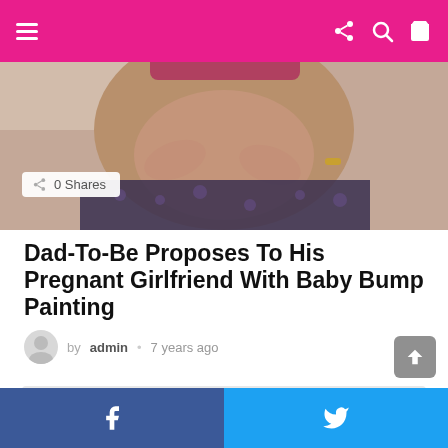Navigation bar with hamburger menu, share, search, and cart icons
[Figure (photo): A pregnant woman's baby bump with hands resting on it, wearing a dark floral skirt]
0 Shares
Dad-To-Be Proposes To His Pregnant Girlfriend With Baby Bump Painting
by admin • 7 years ago
[Figure (other): Advertisement placeholder block]
Facebook share button | Twitter share button